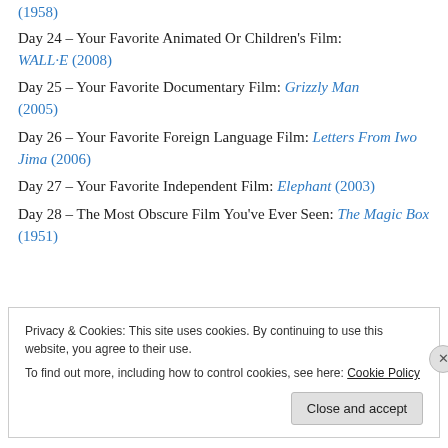Day 23 – Your Favorite Thriller/Mystery Film: Touch Of Evil (1958)
Day 24 – Your Favorite Animated Or Children's Film: WALL·E (2008)
Day 25 – Your Favorite Documentary Film: Grizzly Man (2005)
Day 26 – Your Favorite Foreign Language Film: Letters From Iwo Jima (2006)
Day 27 – Your Favorite Independent Film: Elephant (2003)
Day 28 – The Most Obscure Film You've Ever Seen: The Magic Box (1951)
Privacy & Cookies: This site uses cookies. By continuing to use this website, you agree to their use. To find out more, including how to control cookies, see here: Cookie Policy